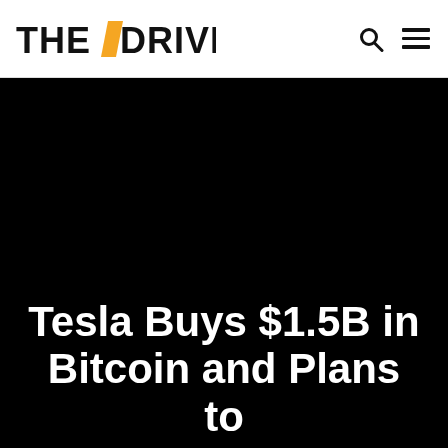THE DRIVE
[Figure (photo): Dark/black background hero image area for article]
Tesla Buys $1.5B in Bitcoin and Plans to